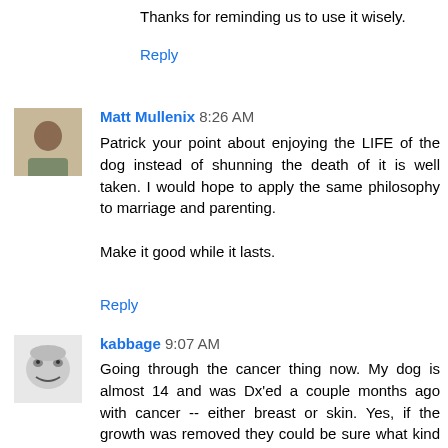Thanks for reminding us to use it wisely.
Reply
Matt Mullenix 8:26 AM
Patrick your point about enjoying the LIFE of the dog instead of shunning the death of it is well taken. I would hope to apply the same philosophy to marriage and parenting.

Make it good while it lasts.
Reply
kabbage 9:07 AM
Going through the cancer thing now. My dog is almost 14 and was Dx'ed a couple months ago with cancer -- either breast or skin. Yes, if the growth was removed they could be sure what kind of cancer it is. Fortunately all the vets involved have been content with my decision not to remove it. Do what we can keep it comfortable and in a positive